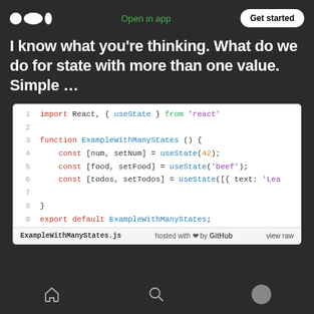Open in app | Get started
I know what you're thinking. What do we do for state with more than one value. Simple …
[Figure (screenshot): A GitHub Gist code block showing a React JavaScript example with multiple useState hooks. Lines 1-9 display: import React, { useState } from 'react'; function ExampleWithManyStates () { const [num, setNum] = useState(42); const [food, setFood] = useState('beef'); const [todos, setTodos] = useState([{ text: 'Lea } export default ExampleWithManyStates;]
ExampleWithManyStates.js hosted with ❤ by GitHub   view raw
Home | Search | Profile